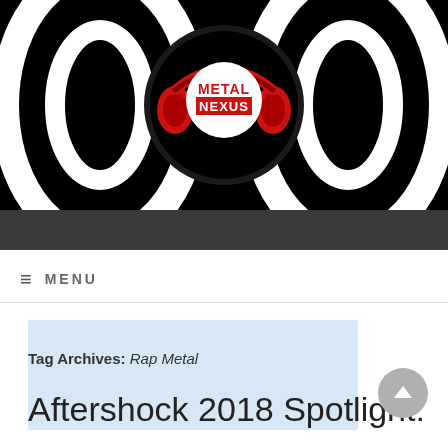[Figure (logo): Metal Nexus logo with red headphones on black background with black and white swirl/spiral pattern]
≡ MENU
[Figure (other): Light blue advertisement placeholder box]
Tag Archives: Rap Metal
Aftershock 2018 Spotlight: